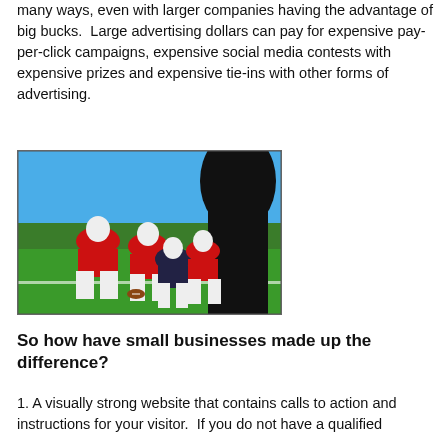many ways, even with larger companies having the advantage of big bucks.  Large advertising dollars can pay for expensive pay-per-click campaigns, expensive social media contests with expensive prizes and expensive tie-ins with other forms of advertising.
[Figure (photo): Photo of American football players in red and white uniforms crouched at the line of scrimmage on a green field against a blue sky. A dark silhouette of a player looms in the foreground on the right.]
So how have small businesses made up the difference?
1. A visually strong website that contains calls to action and instructions for your visitor.  If you do not have a qualified